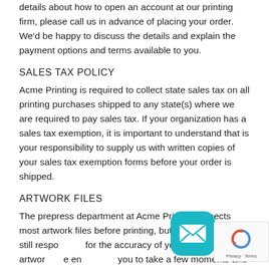details about how to open an account at our printing firm, please call us in advance of placing your order. We'd be happy to discuss the details and explain the payment options and terms available to you.
SALES TAX POLICY
Acme Printing is required to collect state sales tax on all printing purchases shipped to any state(s) where we are required to pay sales tax. If your organization has a sales tax exemption, it is important to understand that is your responsibility to supply us with written copies of your sales tax exemption forms before your order is shipped.
ARTWORK FILES
The prepress department at Acme Printing inspects most artwork files before printing, but you are still responsible for the accuracy of your print-ready artwork. We encourage you to take a few moments and carefully inspect and pre-test